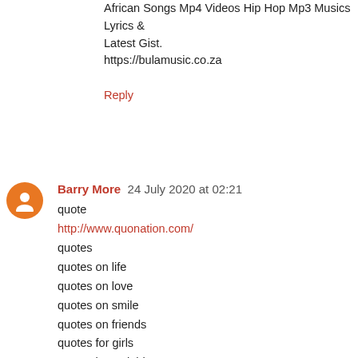African Songs Mp4 Videos Hip Hop Mp3 Musics Lyrics & Latest Gist.
https://bulamusic.co.za
Reply
Barry More  24 July 2020 at 02:21
quote
http://www.quonation.com/
quotes
quotes on life
quotes on love
quotes on smile
quotes on friends
quotes for girls
quotes in punjabi
quotes on nature
quote about life
quote about smile
quote about love
quote about friendship
quote about time